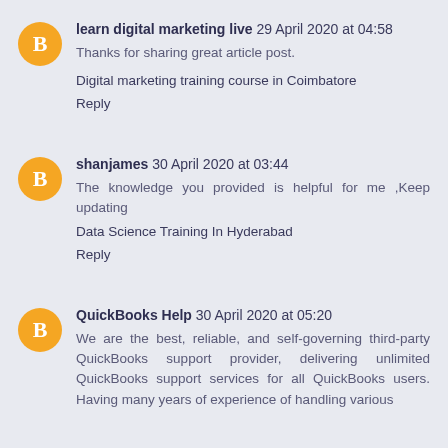learn digital marketing live 29 April 2020 at 04:58
Thanks for sharing great article post.
Digital marketing training course in Coimbatore
Reply
shanjames 30 April 2020 at 03:44
The knowledge you provided is helpful for me ,Keep updating
Data Science Training In Hyderabad
Reply
QuickBooks Help 30 April 2020 at 05:20
We are the best, reliable, and self-governing third-party QuickBooks support provider, delivering unlimited QuickBooks support services for all QuickBooks users. Having many years of experience of handling various